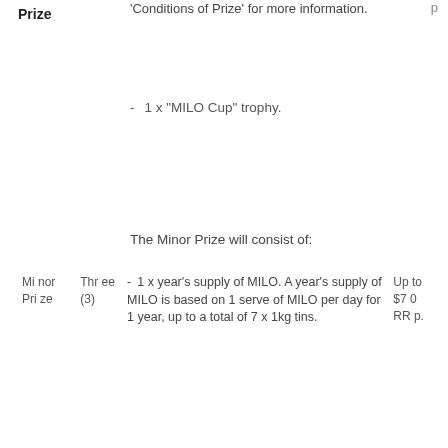Prize
'Conditions of Prize' for more information.
1 x "MILO Cup" trophy.
The Minor Prize will consist of:
|  |  |  |  |
| --- | --- | --- | --- |
| Mi nor Pri ze | Thr ee (3) | - 1 x year's supply of MILO. A year's supply of MILO is based on 1 serve of MILO per day for 1 year, up to a total of 7 x 1kg tins. | Up to $70 RR p. |